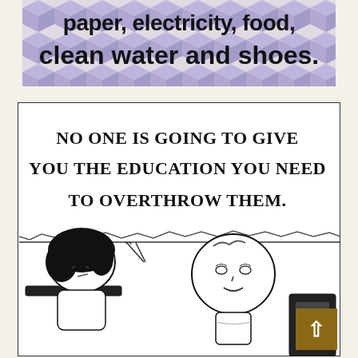[Figure (illustration): Purple/lavender geometric background with bold black text reading 'paper, electricity, food, clean water and shoes.' — partial text visible at top]
[Figure (illustration): Peanuts comic strip panel in black and white. Speech bubble reads 'NO ONE IS GOING TO GIVE YOU THE EDUCATION YOU NEED TO OVERTHROW THEM.' Two characters shown: Lucy (dark hair, on left leaning over a desk) and another character (on right, looking surprised). A scroll-to-top button overlaid in bottom-right corner.]